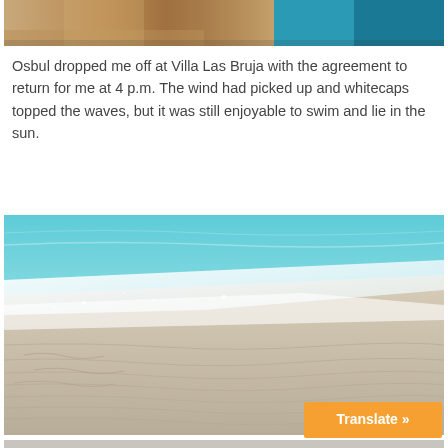[Figure (photo): Top portion of a photo showing sandy beach/ground and what appears to be a teal/turquoise object on the right side]
Osbul dropped me off at Villa Las Bruja with the agreement to return for me at 4 p.m. The wind had picked up and whitecaps topped the waves, but it was still enjoyable to swim and lie in the sun.
[Figure (photo): Beach photo showing turquoise ocean waves with whitecaps meeting white sandy shore with rippled sand patterns]
[Figure (screenshot): Translate button widget in orange]